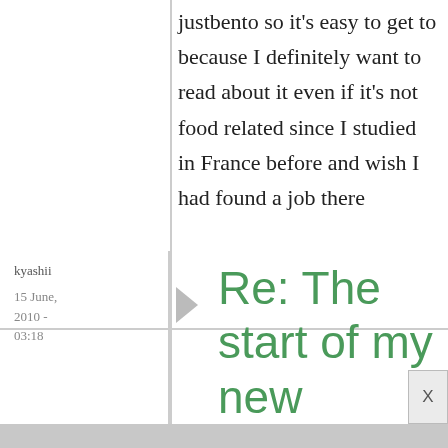justbento so it's easy to get to because I definitely want to read about it even if it's not food related since I studied in France before and wish I had found a job there
kyashii
15 June, 2010 - 03:18
Re: The start of my new